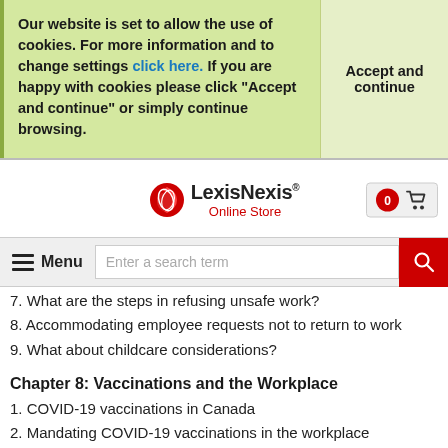Our website is set to allow the use of cookies. For more information and to change settings click here. If you are happy with cookies please click "Accept and continue" or simply continue browsing.
Accept and continue
[Figure (logo): LexisNexis logo with red spiral graphic and text 'LexisNexis Online Store']
7. What are the steps in refusing unsafe work?
8. Accommodating employee requests not to return to work
9. What about childcare considerations?
Chapter 8: Vaccinations and the Workplace
1. COVID-19 vaccinations in Canada
2. Mandating COVID-19 vaccinations in the workplace